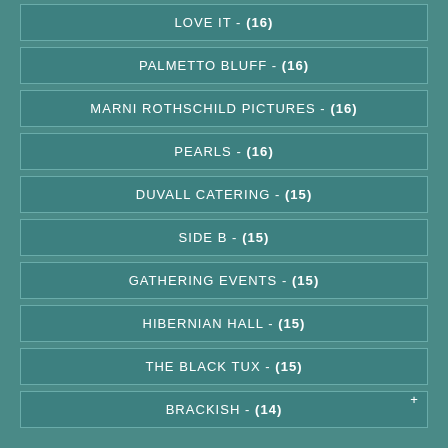LOVE IT - (16)
PALMETTO BLUFF - (16)
MARNI ROTHSCHILD PICTURES - (16)
PEARLS - (16)
DUVALL CATERING - (15)
SIDE B - (15)
GATHERING EVENTS - (15)
HIBERNIAN HALL - (15)
THE BLACK TUX - (15)
BRACKISH - (14)